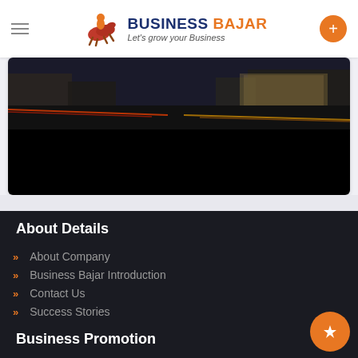BUSINESS BAJAR — Let's grow your Business
[Figure (photo): Street scene at night with light trails from cars, building facade visible, lower half is solid black]
About Details
About Company
Business Bajar Introduction
Contact Us
Success Stories
Business Promotion